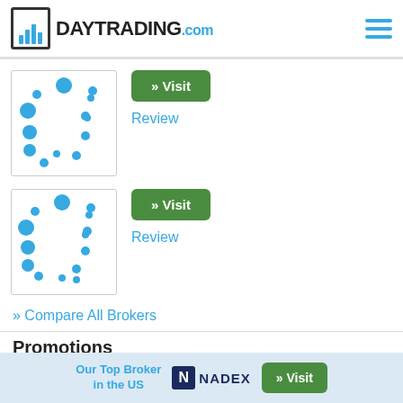[Figure (logo): DayTrading.com logo with bar chart icon]
[Figure (scatter-plot): Broker 1 scatter plot with blue dots]
» Visit
Review
[Figure (scatter-plot): Broker 2 scatter plot with blue dots]
» Visit
Review
» Compare All Brokers
Promotions
Earn Up To $2,000 With FxPlayer's Welcome Deposit
Our Top Broker in the US  NADEX  » Visit